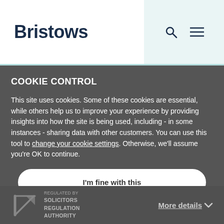Bristows
COOKIE CONTROL
This site uses cookies. Some of these cookies are essential, while others help us to improve your experience by providing insights into how the site is being used, including - in some instances - sharing data with other customers. You can use this tool to change your cookie settings. Otherwise, we'll assume you're OK to continue.
I'm fine with this
REGULATED BY SOLICITORS REGULATION AUTHORITY
More details